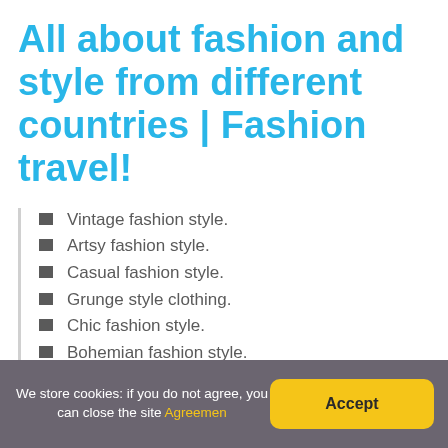All about fashion and style from different countries | Fashion travel!
Vintage fashion style.
Artsy fashion style.
Casual fashion style.
Grunge style clothing.
Chic fashion style.
Bohemian fashion style.
We store cookies: if you do not agree, you can close the site Agreemen